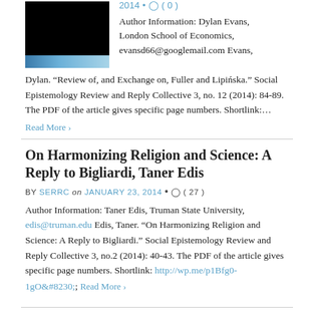[Figure (photo): Thumbnail image of Earth's atmosphere from space showing a dark sky with a faint blue atmospheric glow at the horizon]
2014 • ( 0 )
Author Information: Dylan Evans, London School of Economics, evansd66@googlemail.com Evans, Dylan. “Review of, and Exchange on, Fuller and Lipińska.” Social Epistemology Review and Reply Collective 3, no. 12 (2014): 84-89. The PDF of the article gives specific page numbers. Shortlink:...
Read More ›
On Harmonizing Religion and Science: A Reply to Bigliardi, Taner Edis
BY SERRC on JANUARY 23, 2014 • ( 27 )
Author Information: Taner Edis, Truman State University, edis@truman.edu Edis, Taner. “On Harmonizing Religion and Science: A Reply to Bigliardi.” Social Epistemology Review and Reply Collective 3, no.2 (2014): 40-43. The PDF of the article gives specific page numbers. Shortlink: http://wp.me/p1Bfg0-1gO&#8230; Read More ›